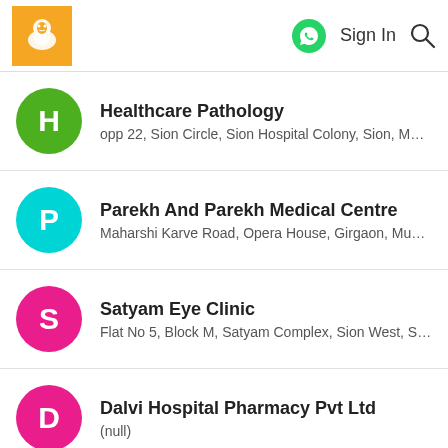Sign In
Healthcare Pathology
opp 22, Sion Circle, Sion Hospital Colony, Sion, Mumbai
Parekh And Parekh Medical Centre
Maharshi Karve Road, Opera House, Girgaon, Mumbai
Satyam Eye Clinic
Flat No 5, Block M, Satyam Complex, Sion West, Sion, M...
Dalvi Hospital Pharmacy Pvt Ltd
(null)
400006
Babulnath
Jaslok Hospital